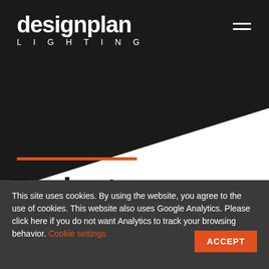[Figure (logo): Designplan Lighting logo: white bold text 'designplan' with orange dot on 'i', and 'LIGHTING' in spaced capitals below, on black background. Hamburger menu icon top right.]
Projects
This site uses cookies. By using the website, you agree to the use of cookies. This website also uses Google Analytics. Please click here if you do not want Analytics to track your browsing behavior. Cookie settings ACCEPT